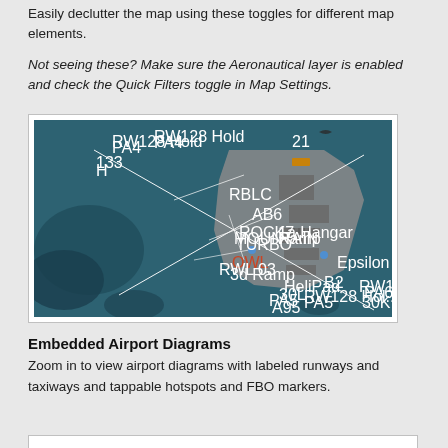Easily declutter the map using these toggles for different map elements.
Not seeing these? Make sure the Aeronautical layer is enabled and check the Quick Filters toggle in Map Settings.
[Figure (screenshot): Airport diagram screenshot showing runways, taxiways, and labeled hotspots on a teal/dark background. Runways are shown as white diagonal lines crossing each other, with labeled taxiway nodes and FBO markers throughout the airport layout.]
Embedded Airport Diagrams
Zoom in to view airport diagrams with labeled runways and taxiways and tappable hotspots and FBO markers.